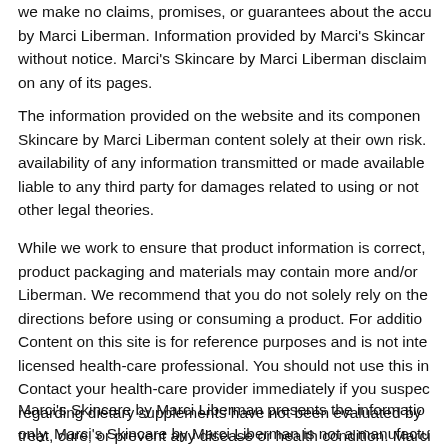we make no claims, promises, or guarantees about the accuracy by Marci Liberman. Information provided by Marci's Skincare without notice. Marci's Skincare by Marci Liberman disclaims on any of its pages.
The information provided on the website and its components Skincare by Marci Liberman content solely at their own risk. availability of any information transmitted or made available liable to any third party for damages related to using or not other legal theories.
While we work to ensure that product information is correct, product packaging and materials may contain more and/or Liberman. We recommend that you do not solely rely on the directions before using or consuming a product. For additio Content on this site is for reference purposes and is not inte licensed health-care professional. You should not use this in Contact your health-care provider immediately if you suspec regarding dietary supplements have not been evaluated by treat, cure, or prevent any disease or health condition. Marci misstatements about products.
Marci's Skincare by Marci Liberman presents the information only. Marci's Skincare by Marci Liberman is not a manufactur Skincare by ...